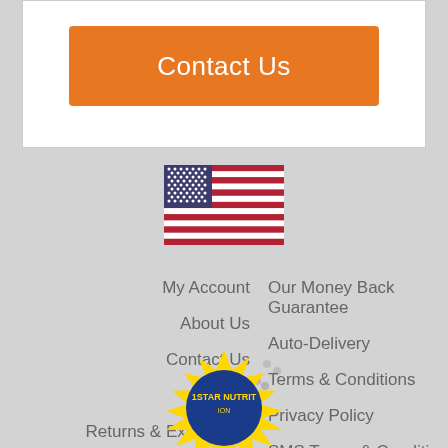Contact Us
[Figure (illustration): USA flag illustration]
My Account
About Us
Contact Us
FAQs
Returns & Exchanges
Our Money Back Guarantee
Auto-Delivery
Terms & Conditions
Privacy Policy
SMS Terms & Conditions
Accessibility Statement
Do Not Sell My Info
Site Map
[Figure (logo): 1 Star Nutrition badge logo, blue and yellow sunburst seal]